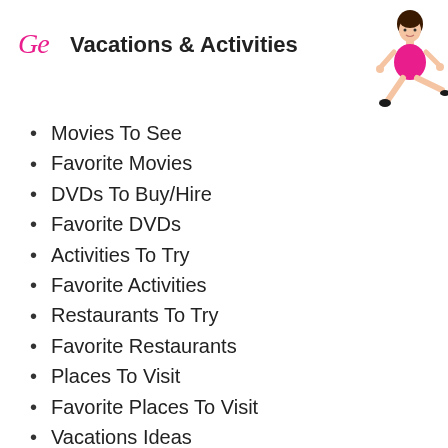Vacations & Activities
Movies To See
Favorite Movies
DVDs To Buy/Hire
Favorite DVDs
Activities To Try
Favorite Activities
Restaurants To Try
Favorite Restaurants
Places To Visit
Favorite Places To Visit
Vacations Ideas
Favorite Vacations
Computer Games To Play
Favorite Computer Games